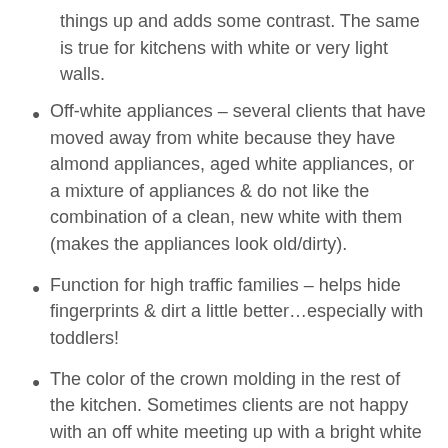things up and adds some contrast. The same is true for kitchens with white or very light walls.
Off-white appliances – several clients that have moved away from white because they have almond appliances, aged white appliances, or a mixture of appliances & do not like the combination of a clean, new white with them (makes the appliances look old/dirty).
Function for high traffic families – helps hide fingerprints & dirt a little better…especially with toddlers!
The color of the crown molding in the rest of the kitchen. Sometimes clients are not happy with an off white meeting up with a bright white trim, but the trim color is whiter than they want on the cabinets.